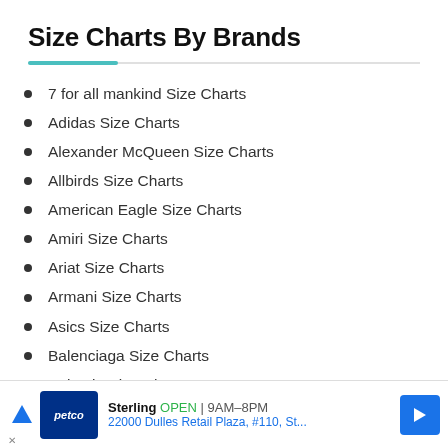Size Charts By Brands
7 for all mankind Size Charts
Adidas Size Charts
Alexander McQueen Size Charts
Allbirds Size Charts
American Eagle Size Charts
Amiri Size Charts
Ariat Size Charts
Armani Size Charts
Asics Size Charts
Balenciaga Size Charts
Balmain Size Charts
Birkenstock Size Charts
Bogner Size Charts